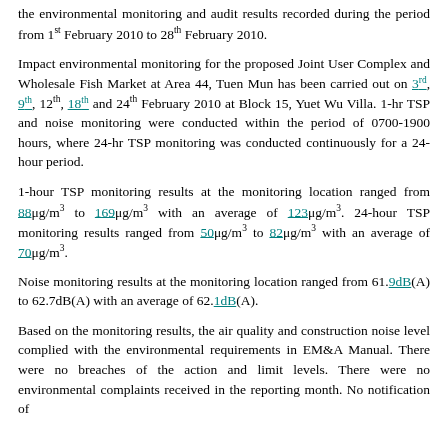the environmental monitoring and audit results recorded during the period from 1st February 2010 to 28th February 2010.
Impact environmental monitoring for the proposed Joint User Complex and Wholesale Fish Market at Area 44, Tuen Mun has been carried out on 3rd, 9th, 12th, 18th and 24th February 2010 at Block 15, Yuet Wu Villa. 1-hr TSP and noise monitoring were conducted within the period of 0700-1900 hours, where 24-hr TSP monitoring was conducted continuously for a 24-hour period.
1-hour TSP monitoring results at the monitoring location ranged from 88μg/m3 to 169μg/m3 with an average of 123μg/m3. 24-hour TSP monitoring results ranged from 50μg/m3 to 82μg/m3 with an average of 70μg/m3.
Noise monitoring results at the monitoring location ranged from 61.9dB(A) to 62.7dB(A) with an average of 62.1dB(A).
Based on the monitoring results, the air quality and construction noise level complied with the environmental requirements in EM&A Manual. There were no breaches of the action and limit levels. There were no environmental complaints received in the reporting month. No notification of